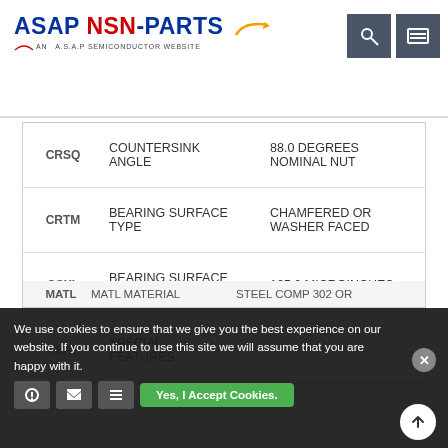ASAP NSN-PARTS — AN A.S.A.P SEMICONDUCTOR WEBSITE
| Code | Description | Value |
| --- | --- | --- |
| CRSQ | COUNTERSINK ANGLE | 88.0 DEGREES NOMINAL NUT |
| CRTM | BEARING SURFACE TYPE | CHAMFERED OR WASHER FACED |
| CSXL | BEARING SURFACE FINISH | 125.0 MICROINCHES |
| FEAT | SPECIAL FEATURES | - |
| MATL | MATERIAL | STEEL COMP 302 OR |
We use cookies to ensure that we give you the best experience on our website. If you continue to use this site we will assume that you are happy with it.
Yes, I Accept Cookies.